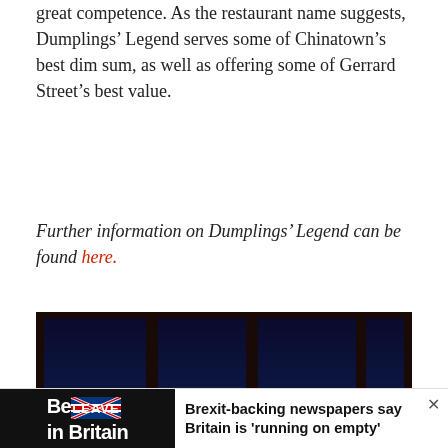great competence. As the restaurant name suggests, Dumplings' Legend serves some of Chinatown's best dim sum, as well as offering some of Gerrard Street's best value.
Further information on Dumplings' Legend can be found here.
[Figure (photo): Interior of a high-rise restaurant at night with panoramic floor-to-ceiling windows overlooking a glittering city skyline. Dark atmosphere with red accent pieces on tables.]
[Figure (photo): Brexit advertisement banner showing 'BeLEAVE in Britain' with a Union Jack flag motif, alongside a news headline: Brexit-backing newspapers say Britain is 'running on empty']